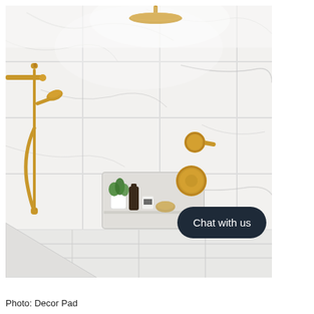[Figure (photo): A luxury walk-in shower with white marble tile walls and floor, brushed gold/brass fixtures including a rainhead shower at top, a handheld shower on a slide bar on the left wall, and two round valve controls on the right wall. A recessed marble niche holds small green plants, bottles, and a sponge. A triangular corner shelf is visible at the bottom. A dark rounded 'Chat with us' button overlays the lower right of the image.]
Photo: Decor Pad